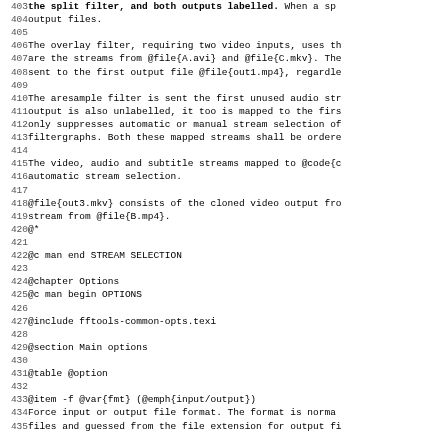Code/documentation source lines 403-435 showing FFmpeg documentation in Texinfo format, including overlay filter description, aresample filter, stream selection, Options chapter start, and @item -f @var{fmt} entry.